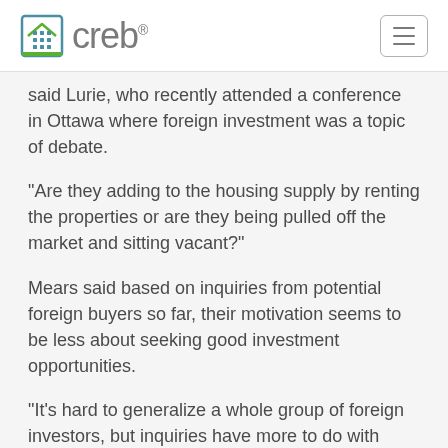creb
said Lurie, who recently attended a conference in Ottawa where foreign investment was a topic of debate.
"Are they adding to the housing supply by renting the properties or are they being pulled off the market and sitting vacant?"
Mears said based on inquiries from potential foreign buyers so far, their motivation seems to be less about seeking good investment opportunities.
"It's hard to generalize a whole group of foreign investors, but inquiries have more to do with lifestyle," she said, adding many are looking to buy for children attending school in the city.